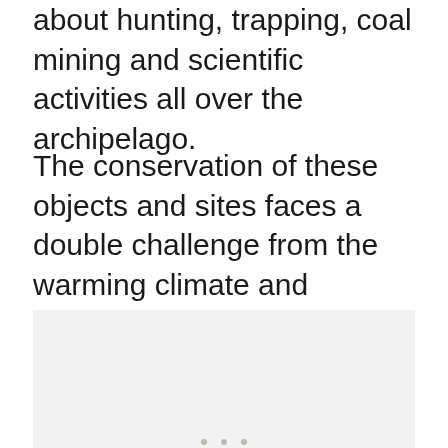about hunting, trapping, coal mining and scientific activities all over the archipelago.
The conservation of these objects and sites faces a double challenge from the warming climate and increasing human activity.
[Figure (photo): A light gray rectangular image placeholder with three small dots at the bottom center, representing a photo that is not fully visible.]